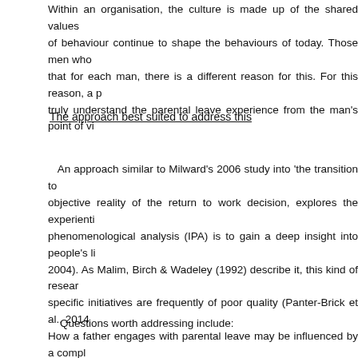Within an organisation, the culture is made up of the shared values of behaviour continue to shape the behaviours of today. Those men who that for each man, there is a different reason for this. For this reason, a p truly understand the parental leave experience from the man's point of vi
The approach best suited to address this
An approach similar to Milward's 2006 study into 'the transition to objective reality of the return to work decision, explores the experienti phenomenological analysis (IPA) is to gain a deep insight into people's li 2004). As Malim, Birch & Wadeley (1992) describe it, this kind of resear specific initiatives are frequently of poor quality (Panter-Brick et al., 2014 How a father engages with parental leave may be influenced by a compl will complement the quantitative data that currently exists.  Reid, Flow supporting 'analytic commentary' can result in useful insights which ha particular... can help illuminate the universal' (Warnock, 1987). Adapting s the intrinsic desire to be a good father) are balanced with external fac grouped into appropriate themes and conceptualised within existing theo
Questions worth addressing include: